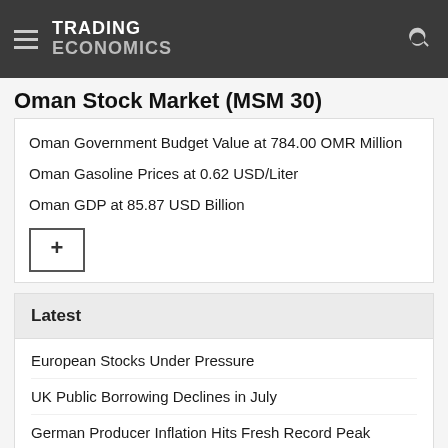TRADING ECONOMICS
Oman Stock Market (MSM 30)
Oman Government Budget Value at 784.00 OMR Million
Oman Gasoline Prices at 0.62 USD/Liter
Oman GDP at 85.87 USD Billion
Latest
European Stocks Under Pressure
UK Public Borrowing Declines in July
German Producer Inflation Hits Fresh Record Peak
US 10-Year Bond Yield Hits Four-Week High
UK Retail Sales Unexpectedly Rise in July
Dollar Hovers 1 Month High on Hawkish Fed